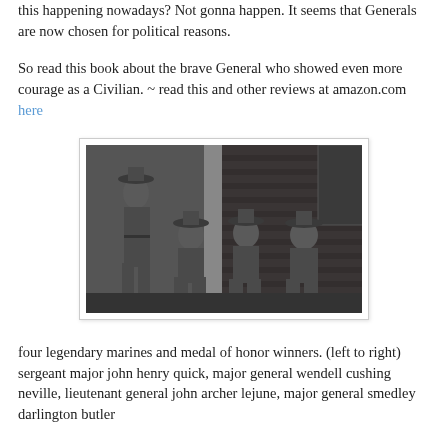this happening nowadays? Not gonna happen. It seems that Generals are now chosen for political reasons.
So read this book about the brave General who showed even more courage as a Civilian. ~ read this and other reviews at amazon.com here
[Figure (photo): Black and white photograph of four legendary marines and medal of honor winners seated and standing in front of a brick wall.]
four legendary marines and medal of honor winners. (left to right) sergeant major john henry quick, major general wendell cushing neville, lieutenant general john archer lejune, major general smedley darlington butler